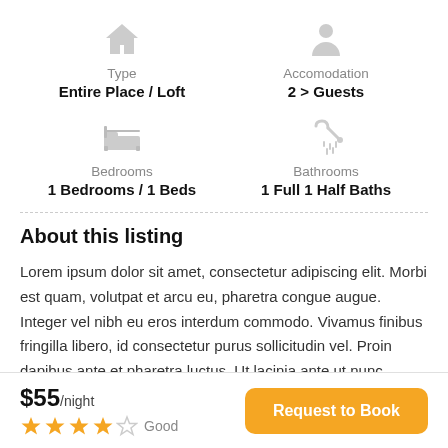[Figure (infographic): Property type icon (house) with label Type and value Entire Place / Loft]
[Figure (infographic): Accommodation icon (person) with label Accomodation and value 2 > Guests]
[Figure (infographic): Bedroom icon (bed) with label Bedrooms and value 1 Bedrooms / 1 Beds]
[Figure (infographic): Bathroom icon (shower) with label Bathrooms and value 1 Full 1 Half Baths]
About this listing
Lorem ipsum dolor sit amet, consectetur adipiscing elit. Morbi est quam, volutpat et arcu eu, pharetra congue augue. Integer vel nibh eu eros interdum commodo. Vivamus finibus fringilla libero, id consectetur purus sollicitudin vel. Proin dapibus ante et pharetra luctus. Ut lacinia ante ut nunc
$55/night
★★★★☆ Good
Request to Book